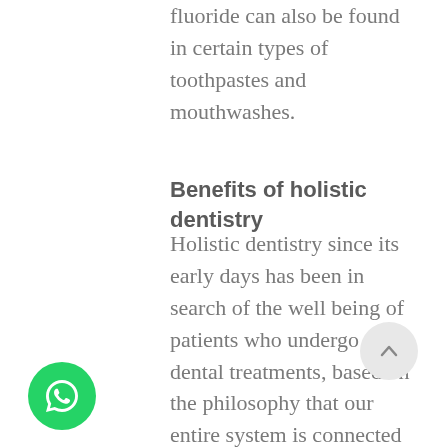fluoride can also be found in certain types of toothpastes and mouthwashes.
Benefits of holistic dentistry
Holistic dentistry since its early days has been in search of the well being of patients who undergo dental treatments, based on the philosophy that our entire system is connected and therefore; we should not only focus on one part of the body, but in all and possible affectations, besides also being linked to the care of the environment. Holistic dentistry procedures are minimally invasive, avoid the use